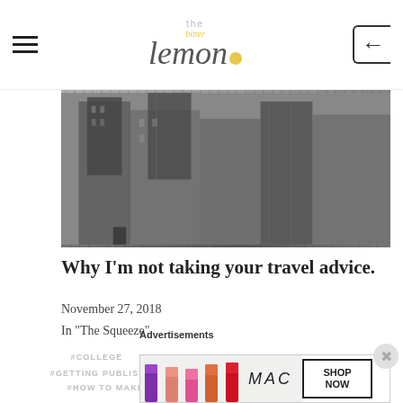the bitter lemon
[Figure (photo): Black and white photo of urban buildings viewed from below]
Why I'm not taking your travel advice.
November 27, 2018
In "The Squeeze"
#COLLEGE  #COLLEGE LIFE  #DATING  #FAMILY
#GETTING PUBLISHED  #HEARTBREAK  #HOLLY A. PHILLIPS
#HOW TO MAKE LEMONADE  #HUMOR  #LIFE  #LOVE
Advertisements
[Figure (other): MAC Cosmetics advertisement banner with lipsticks and SHOP NOW button]